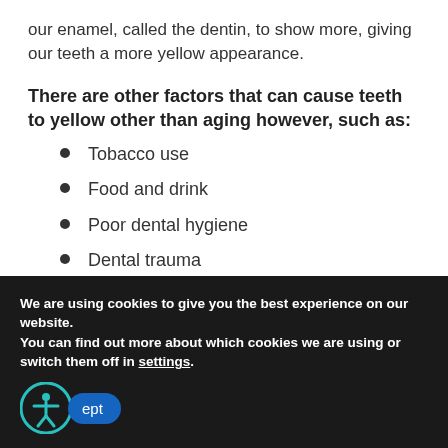our enamel, called the dentin, to show more, giving our teeth a more yellow appearance.
There are other factors that can cause teeth to yellow other than aging however, such as:
Tobacco use
Food and drink
Poor dental hygiene
Dental trauma
Certain medications
We are using cookies to give you the best experience on our website.
You can find out more about which cookies we are using or switch them off in settings.